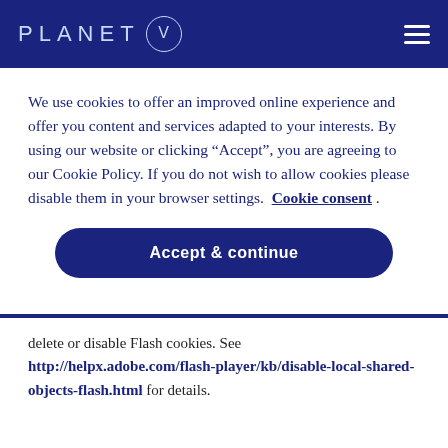[Figure (logo): Planet V logo with circular V emblem on dark blue header bar, with hamburger menu icon on the right]
We use cookies to offer an improved online experience and offer you content and services adapted to your interests. By using our website or clicking “Accept”, you are agreeing to our Cookie Policy. If you do not wish to allow cookies please disable them in your browser settings. Cookie consent .
Accept & continue
delete or disable Flash cookies. See http://helpx.adobe.com/flash-player/kb/disable-local-shared-objects-flash.html for details.